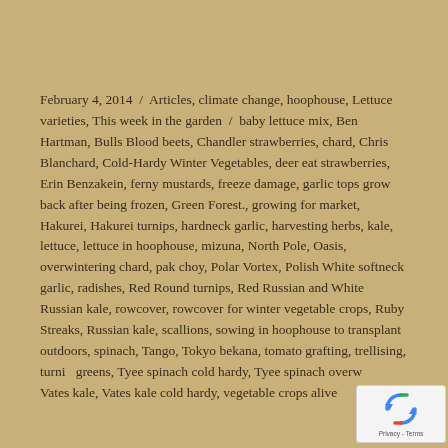February 4, 2014 / Articles, climate change, hoophouse, Lettuce varieties, This week in the garden / baby lettuce mix, Ben Hartman, Bulls Blood beets, Chandler strawberries, chard, Chris Blanchard, Cold-Hardy Winter Vegetables, deer eat strawberries, Erin Benzakein, ferny mustards, freeze damage, garlic tops grow back after being frozen, Green Forest., growing for market, Hakurei, Hakurei turnips, hardneck garlic, harvesting herbs, kale, lettuce, lettuce in hoophouse, mizuna, North Pole, Oasis, overwintering chard, pak choy, Polar Vortex, Polish White softneck garlic, radishes, Red Round turnips, Red Russian and White Russian kale, rowcover, rowcover for winter vegetable crops, Ruby Streaks, Russian kale, scallions, sowing in hoophouse to transplant outdoors, spinach, Tango, Tokyo bekana, tomato grafting, trellising, turnip greens, Tyee spinach cold hardy, Tyee spinach overwintering, Vates kale, Vates kale cold hardy, vegetable crops alive
[Figure (logo): reCAPTCHA badge with blue recycling-style arrows logo and Privacy - Terms text]